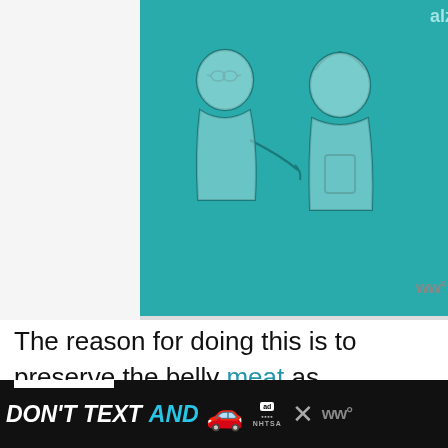[Figure (illustration): Alzheimer's Association advertisement showing two illustrated figures — an older person with glasses and a younger person — on a teal background. Text reads 'alz.org/ourstories' with the Alzheimer's Association logo.]
The reason for doing this is to preserve the belly meat as much as possible as this is a special section of the fish meat.
If you are not planning on filleting the fish straight away, it is important to cool it down quickly to avoid spoilage. Burry the fish in ic or place it in saltwater ice slush to cool it do
[Figure (illustration): Bottom advertisement banner with dark background. Text reads 'DON'T TEXT AND' followed by a car emoji, AdChoices icon, and NHTSA branding with close buttons.]